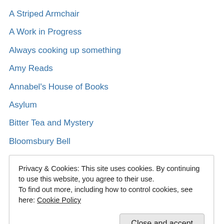A Striped Armchair
A Work in Progress
Always cooking up something
Amy Reads
Annabel's House of Books
Asylum
Bitter Tea and Mystery
Bloomsbury Bell
Book Snob
Bookie Mee
Booklust
Boston Bibliophile
Buried in Print
Privacy & Cookies: This site uses cookies. By continuing to use this website, you agree to their use. To find out more, including how to control cookies, see here: Cookie Policy
Deanna Raybourn
Desperate Reader